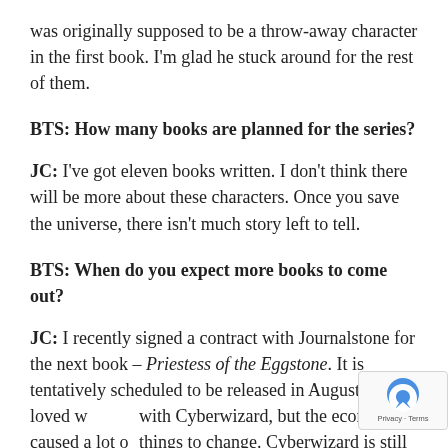was originally supposed to be a throw-away character in the first book. I'm glad he stuck around for the rest of them.
BTS: How many books are planned for the series?
JC: I've got eleven books written. I don't think there will be more about these characters. Once you save the universe, there isn't much story left to tell.
BTS: When do you expect more books to come out?
JC: I recently signed a contract with Journalstone for the next book – Priestess of the Eggstone. It is tentatively scheduled to be released in August 2012. I loved w[orking] with Cyberwizard, but the economy caused a lot o[f] things to change. Cyberwizard is still publishing, bu[t]